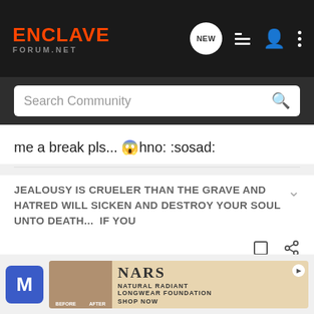ENCLAVE FORUM.NET
Search Community
me a break pls... 😱hno: :sosad:
JEALOUSY IS CRUELER THAN THE GRAVE AND HATRED WILL SICKEN AND DESTROY YOUR SOUL UNTO DEATH...  IF YOU
[Figure (screenshot): NARS Natural Radiant Longwear Foundation advertisement banner at the bottom of the page]